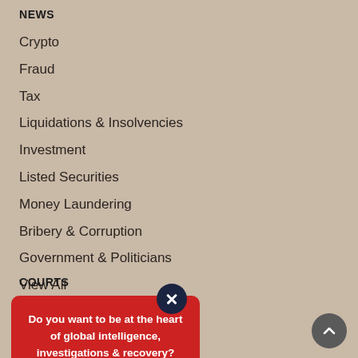NEWS
Crypto
Fraud
Tax
Liquidations & Insolvencies
Investment
Listed Securities
Money Laundering
Bribery & Corruption
Government & Politicians
View All
COURTS
Do you want to be at the heart of global intelligence, investigations & recovery?
Extradition